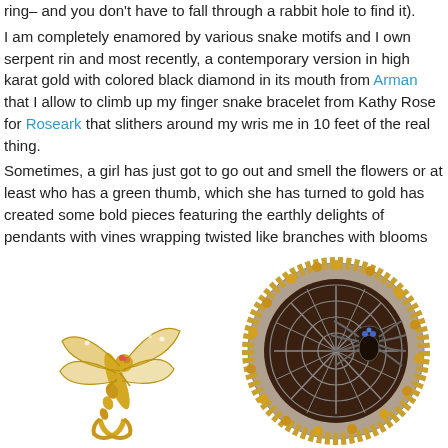ring– and you don't have to fall through a rabbit hole to find it).
I am completely enamored by various snake motifs and I own serpent rings and most recently, a contemporary version in high karat gold with colored black diamond in its mouth from Arman that I allow to climb up my finger snake bracelet from Kathy Rose for Roseark that slithers around my wrist me in 10 feet of the real thing.
Sometimes, a girl has just got to go out and smell the flowers or at least who has a green thumb, which she has turned to gold has created some bold pieces featuring the earthly delights of pendants with vines wrapping twisted like branches with blooms of different floral varieties.  Luckily in h carry my EpiPen.
[Figure (photo): Gold dragonfly ring with gemstone accents on wings]
[Figure (photo): Dark circular spider web ring with spider and yellow gemstone border]